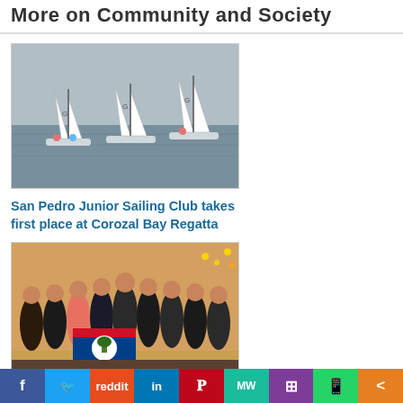More on Community and Society
[Figure (photo): Sailing boats with white sails on a body of water, with people visible on the boats]
San Pedro Junior Sailing Club takes first place at Corozal Bay Regatta
[Figure (photo): Group of people holding a Belize flag, posing together indoors]
Belizean journalists meet with experts in international law to learn the procedures of the ICJ